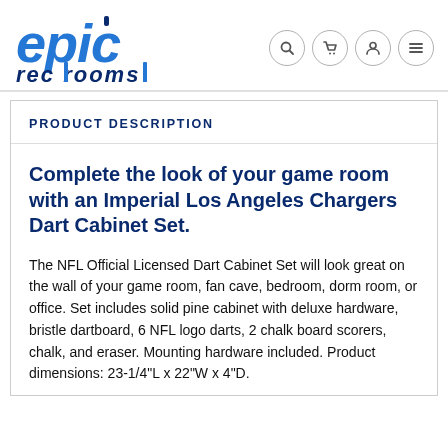epic rec rooms
PRODUCT DESCRIPTION
Complete the look of your game room with an Imperial Los Angeles Chargers Dart Cabinet Set.
The NFL Official Licensed Dart Cabinet Set will look great on the wall of your game room, fan cave, bedroom, dorm room, or office. Set includes solid pine cabinet with deluxe hardware, bristle dartboard, 6 NFL logo darts, 2 chalk board scorers, chalk, and eraser. Mounting hardware included. Product dimensions: 23-1/4"L x 22"W x 4"D.